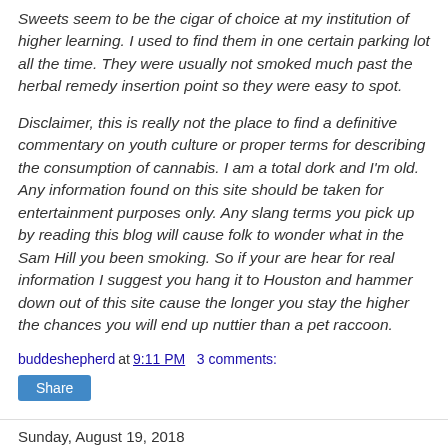Sweets seem to be the cigar of choice at my institution of higher learning. I used to find them in one certain parking lot all the time. They were usually not smoked much past the herbal remedy insertion point so they were easy to spot.
Disclaimer, this is really not the place to find a definitive commentary on youth culture or proper terms for describing the consumption of cannabis. I am a total dork and I'm old. Any information found on this site should be taken for entertainment purposes only. Any slang terms you pick up by reading this blog will cause folk to wonder what in the Sam Hill you been smoking. So if your are hear for real information I suggest you hang it to Houston and hammer down out of this site cause the longer you stay the higher the chances you will end up nuttier than a pet raccoon.
buddeshepherd at 9:11 PM   3 comments:
Share
Sunday, August 19, 2018